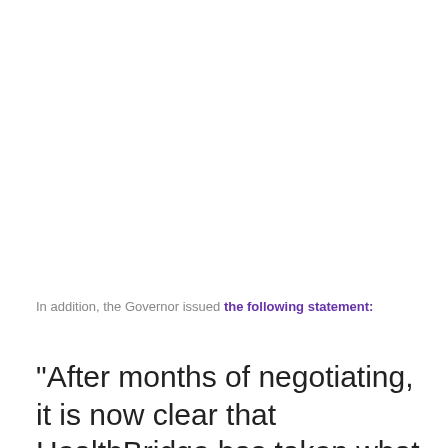In addition, the Governor issued the following statement:
"After months of negotiating, it is now clear that HealthBridge has taken what can only be characterized as unfair actions against their employees. By essentially cutting wages and